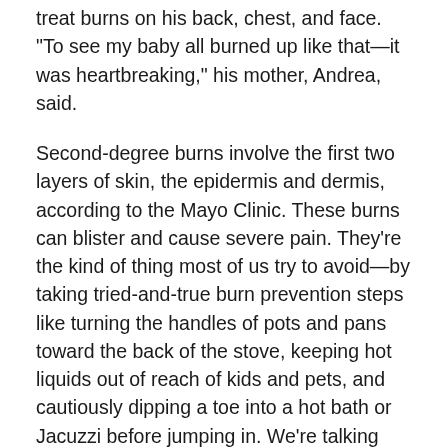treat burns on his back, chest, and face. "To see my baby all burned up like that—it was heartbreaking," his mother, Andrea, said.
Second-degree burns involve the first two layers of skin, the epidermis and dermis, according to the Mayo Clinic. These burns can blister and cause severe pain. They're the kind of thing most of us try to avoid—by taking tried-and-true burn prevention steps like turning the handles of pots and pans toward the back of the stove, keeping hot liquids out of reach of kids and pets, and cautiously dipping a toe into a hot bath or Jacuzzi before jumping in. We're talking common sense here.
Luckily, Clark's burns are expected to heal just fine. But the hot water challenge has led to at least one death